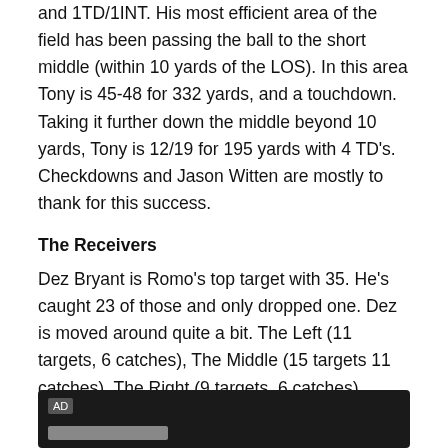and 1TD/1INT. His most efficient area of the field has been passing the ball to the short middle (within 10 yards of the LOS). In this area Tony is 45-48 for 332 yards, and a touchdown. Taking it further down the middle beyond 10 yards, Tony is 12/19 for 195 yards with 4 TD's. Checkdowns and Jason Witten are mostly to thank for this success.
The Receivers
Dez Bryant is Romo's top target with 35. He's caught 23 of those and only dropped one. Dez is moved around quite a bit. The Left (11 targets, 6 catches), The Middle (15 targets 11 catches), The Right (9 targets, 6 catches). Curiously he only has 3 targets deep downfield.
[Figure (other): Advertisement block with dark background, AD badge, and a gray bar at the bottom]